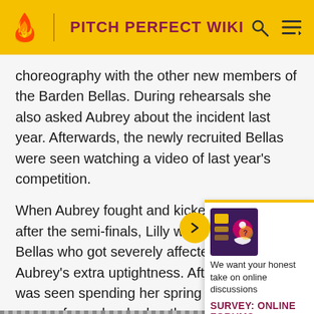PITCH PERFECT WIKI
choreography with the other new members of the Barden Bellas. During rehearsals she also asked Aubrey about the incident last year. Afterwards, the newly recruited Bellas were seen watching a video of last year's competition.
When Aubrey fought and kicked out Beca after the semi-finals, Lilly was one of the Bellas who got severely affected with Aubrey's extra uptightness. After that, Lilly was seen spending her spring break with a group of people who beatboxes. She then got a text stating that the Bellas were back in the competition and that they had to practice agai...
The Bellas fough... puked as she wa...
[Figure (screenshot): Survey popup overlay with yellow top border, showing a pink/purple graphic with a person icon, text 'We want your honest take on online discussions' and 'SURVEY: ONLINE FORUMS' in bold magenta, with a yellow arrow circle button on the left.]